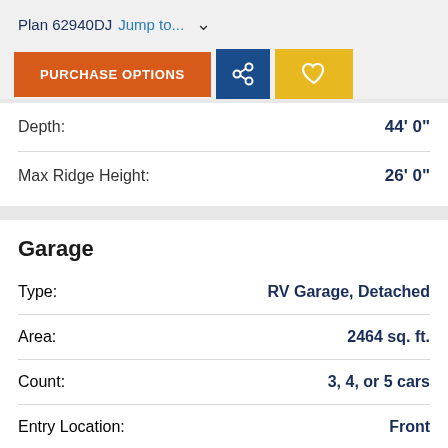Plan 62940DJ  Jump to...
PURCHASE OPTIONS
Depth: 44' 0"
Max Ridge Height: 26' 0"
Garage
Type: RV Garage, Detached
Area: 2464 sq. ft.
Count: 3, 4, or 5 cars
Entry Location: Front